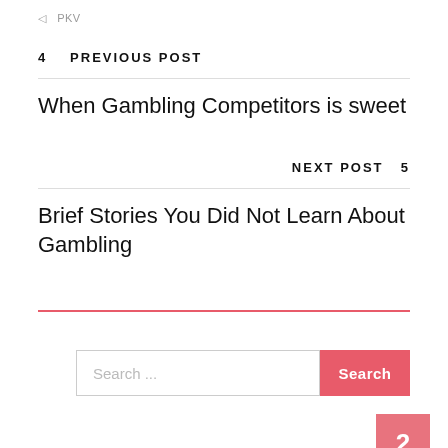◁  PKV
4  PREVIOUS POST
When Gambling Competitors is sweet
NEXT POST  5
Brief Stories You Did Not Learn About Gambling
Search ...
Search